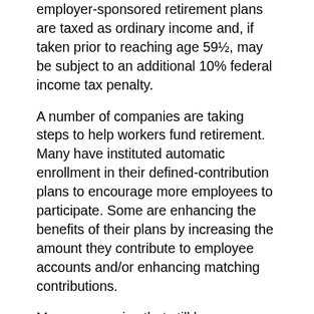employer-sponsored retirement plans are taxed as ordinary income and, if taken prior to reaching age 59½, may be subject to an additional 10% federal income tax penalty.
A number of companies are taking steps to help workers fund retirement. Many have instituted automatic enrollment in their defined-contribution plans to encourage more employees to participate. Some are enhancing the benefits of their plans by increasing the amount they contribute to employee accounts and/or enhancing matching contributions.
Many companies that still have traditional pension plans should be able to pay their promised benefits. But in light of recent trends, it would be wise to consider all possible sources of retirement income when reviewing your retirement strategy. With the changing retirement landscape, there may be no better time than now to size up your current situation. Your company-sponsored retirement plan will be just